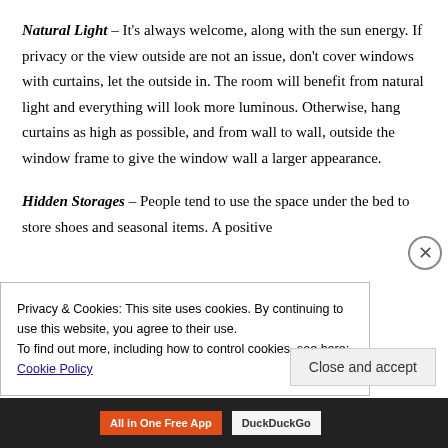Natural Light – It's always welcome, along with the sun energy. If privacy or the view outside are not an issue, don't cover windows with curtains, let the outside in. The room will benefit from natural light and everything will look more luminous. Otherwise, hang curtains as high as possible, and from wall to wall, outside the window frame to give the window wall a larger appearance.
Hidden Storages – People tend to use the space under the bed to store shoes and seasonal items. A positive...
Privacy & Cookies: This site uses cookies. By continuing to use this website, you agree to their use. To find out more, including how to control cookies, see here: Cookie Policy
Close and accept
All in One Free App   DuckDuckGo